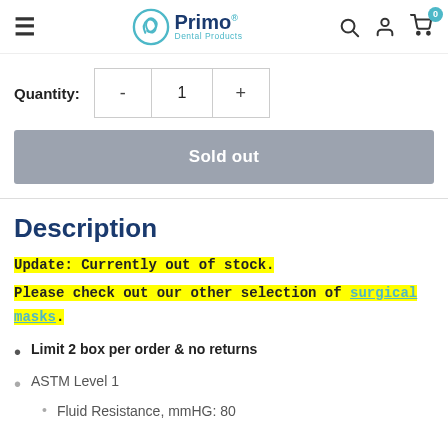[Figure (logo): Primo Dental Products logo with teal swirl icon and navy/teal text]
Quantity: - 1 +
Sold out
Description
Update: Currently out of stock.
Please check out our other selection of surgical masks.
Limit 2 box per order & no returns
ASTM Level 1
Fluid Resistance, mmHG: 80